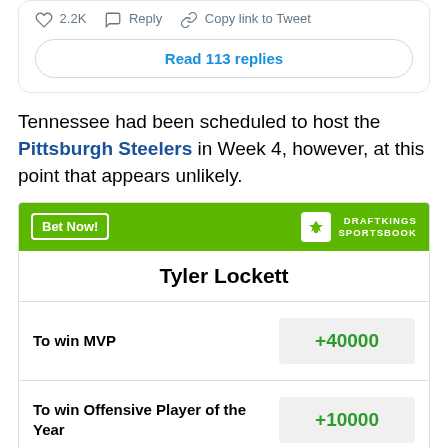[Figure (screenshot): Twitter/X card showing 2.2K likes, Reply, and Copy link to Tweet actions, with a 'Read 113 replies' button below.]
Tennessee had been scheduled to host the Pittsburgh Steelers in Week 4, however, at this point that appears unlikely.
| Bet | Odds |
| --- | --- |
| To win MVP | +40000 |
| To win Offensive Player of the Year | +10000 |
| Most Receiving Yards in ... | +6000 |
Tyler Lockett — DraftKings Sportsbook odds widget